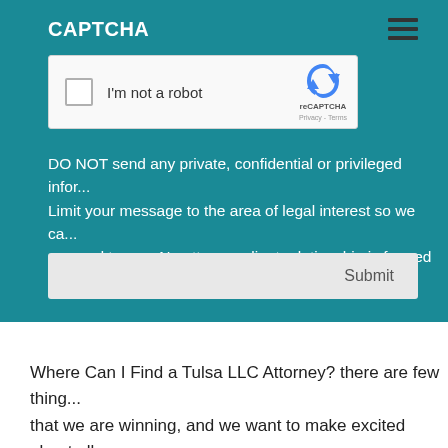CAPTCHA
[Figure (screenshot): reCAPTCHA widget with checkbox labeled 'I'm not a robot', reCAPTCHA logo, Privacy and Terms links]
DO NOT send any private, confidential or privileged information. Limit your message to the area of legal interest so we can respond to you. No attorney client relationship is formed b[y]...
[Figure (screenshot): Submit button in a grey bar]
Where Can I Find a Tulsa LLC Attorney? there are few things that we are winning, and we want to make excited about all